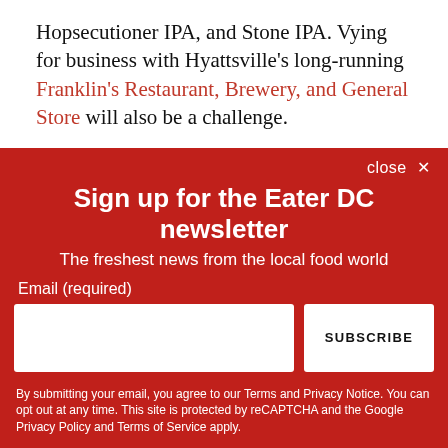Hopsecutioner IPA, and Stone IPA. Vying for business with Hyattsville's long-running Franklin's Restaurant, Brewery, and General Store will also be a challenge.
In the same interview, Bruno said that the mixed-use development approached Denizens about considering Riverdale Park Station for future expansion. Upon opening, the brewery hopes to be a resource for the local community
Sign up for the Eater DC newsletter
The freshest news from the local food world
Email (required)
SUBSCRIBE
By submitting your email, you agree to our Terms and Privacy Notice. You can opt out at any time. This site is protected by reCAPTCHA and the Google Privacy Policy and Terms of Service apply.